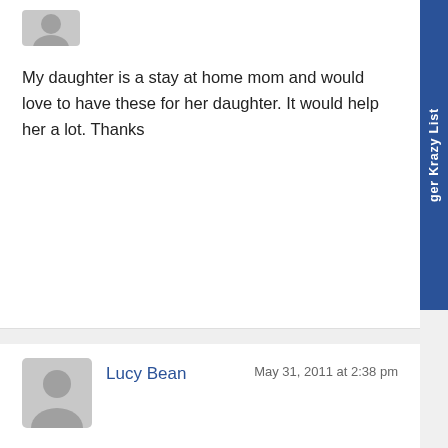My daughter is a stay at home mom and would love to have these for her daughter. It would help her a lot. Thanks
[Figure (illustration): Gray avatar/profile placeholder icon for commenter]
Lucy Bean
May 31, 2011 at 2:38 pm
I follow you by email everyday.
[Figure (illustration): Gray avatar/profile placeholder icon for commenter]
Lucy Bean
May 31, 2011 at 2:37 pm